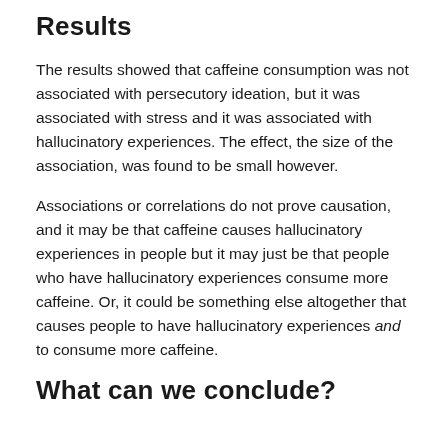Results
The results showed that caffeine consumption was not associated with persecutory ideation, but it was associated with stress and it was associated with hallucinatory experiences. The effect, the size of the association, was found to be small however.
Associations or correlations do not prove causation, and it may be that caffeine causes hallucinatory experiences in people but it may just be that people who have hallucinatory experiences consume more caffeine. Or, it could be something else altogether that causes people to have hallucinatory experiences and to consume more caffeine.
What can we conclude?